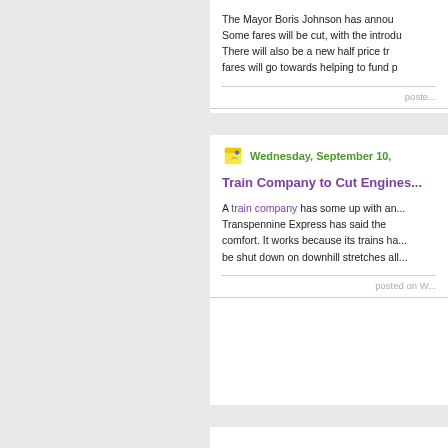The Mayor Boris Johnson has annou... Some fares will be cut, with the introdu... There will also be a new half price tr... fares will go towards helping to fund p...
poste...
Wednesday, September 10,
Train Company to Cut Engines...
A train company has some up with an... Transpennine Express has said the... comfort. It works because its trains ha... be shut down on downhill stretches all...
posted on W...